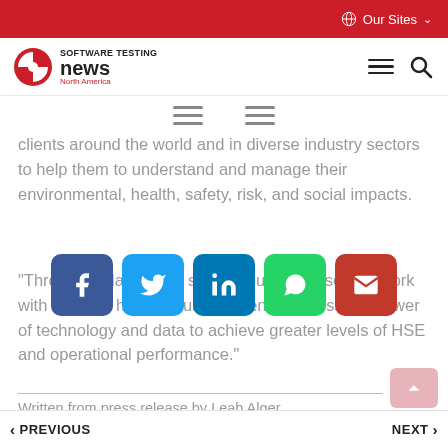Our Sites
[Figure (logo): Software Testing News North America logo]
[Figure (infographic): Two hamburger menu icons centered on page]
clients around the world and in diverse industry sectors to help them to understand and manage their environmental, health, safety, risk, and social impacts.
[Figure (infographic): Social share buttons: Facebook, Twitter, LinkedIn, WhatsApp, Email]
"Through collaboration sharing our expertise, our work with Cority is helping our key clients harness the power of technology and data to achieve greater levels of HSE and operational performance."
Written from press release by Leah Alger
PREVIOUS   NEXT